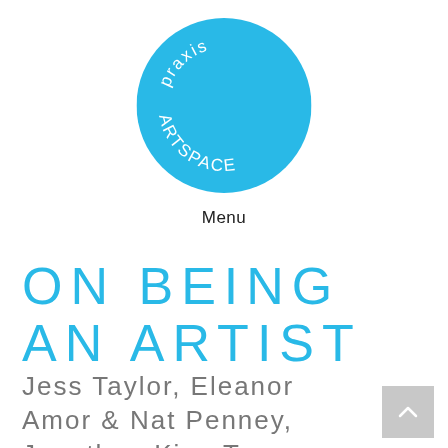[Figure (logo): Praxis ARTspace circular logo — a cyan/sky-blue circle with white text reading 'praxis' (curved along top arc) and 'ARTSPACE' (curved along bottom arc)]
Menu
ON BEING AN ARTIST
Jess Taylor, Eleanor Amor & Nat Penney, Jonathan Kim, Tom Barnes